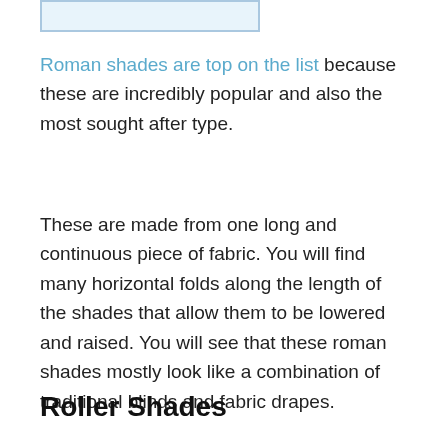[Figure (other): Image placeholder rectangle at top of page]
Roman shades are top on the list because these are incredibly popular and also the most sought after type.
These are made from one long and continuous piece of fabric. You will find many horizontal folds along the length of the shades that allow them to be lowered and raised. You will see that these roman shades mostly look like a combination of traditional blinds and fabric drapes.
Roller Shades